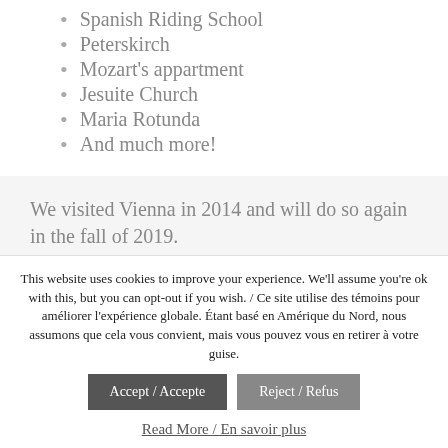Spanish Riding School
Peterskirch
Mozart's appartment
Jesuite Church
Maria Rotunda
And much more!
We visited Vienna in 2014 and will do so again in the fall of 2019.
This website uses cookies to improve your experience. We'll assume you're ok with this, but you can opt-out if you wish. / Ce site utilise des témoins pour améliorer l'expérience globale. Étant basé en Amérique du Nord, nous assumons que cela vous convient, mais vous pouvez vous en retirer à votre guise.
Accept / Accepte
Reject / Refus
Read More / En savoir plus